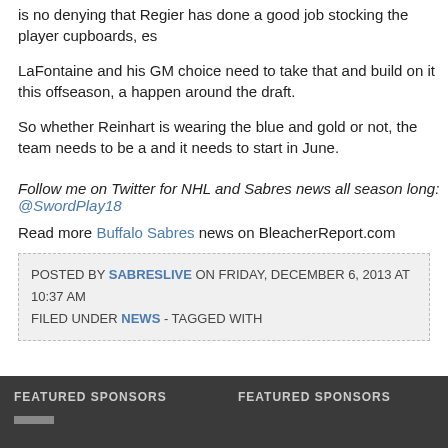is no denying that Regier has done a good job stocking the player cupboards, es
LaFontaine and his GM choice need to take that and build on it this offseason, a happen around the draft.
So whether Reinhart is wearing the blue and gold or not, the team needs to be a and it needs to start in June.
Follow me on Twitter for NHL and Sabres news all season long: @SwordPlay18
Read more Buffalo Sabres news on BleacherReport.com
POSTED BY SABRESLIVE ON FRIDAY, DECEMBER 6, 2013 AT 10:37 AM
FILED UNDER NEWS - TAGGED WITH
FEATURED SPONSORS   FEATURED SPONSORS